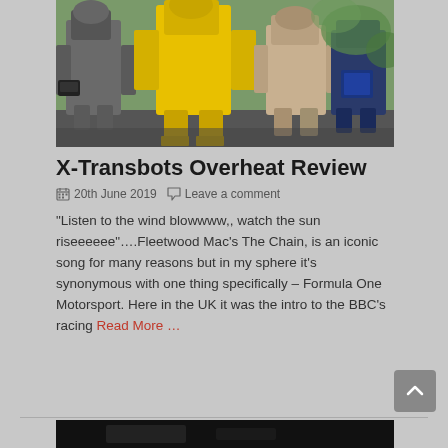[Figure (photo): Group of Transformers robot toy figures (X-Transbots Overheat) posed together outdoors against green foliage background. Robots are yellow, grey, and dark blue/tan colored.]
X-Transbots Overheat Review
20th June 2019   Leave a comment
“Listen to the wind blowwww,, watch the sun riseeeeee”….Fleetwood Mac’s The Chain, is an iconic song for many reasons but in my sphere it’s synonymous with one thing specifically – Formula One Motorsport. Here in the UK it was the intro to the BBC’s racing Read More …
[Figure (photo): Partial bottom image, very dark, appears to be another product or scene photo]